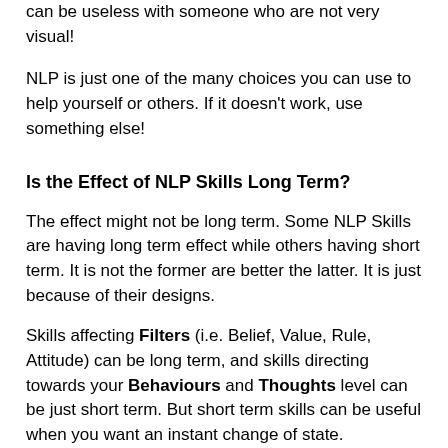can be useless with someone who are not very visual!
NLP is just one of the many choices you can use to help yourself or others. If it doesn't work, use something else!
Is the Effect of NLP Skills Long Term?
The effect might not be long term. Some NLP Skills are having long term effect while others having short term. It is not the former are better the latter. It is just because of their designs.
Skills affecting Filters (i.e. Belief, Value, Rule, Attitude) can be long term, and skills directing towards your Behaviours and Thoughts level can be just short term. But short term skills can be useful when you want an instant change of state.
For example, you are in a very bad mood, you dissociate and you get a short term relief. But if your Filters or your environment do not change, you can then easily swing back